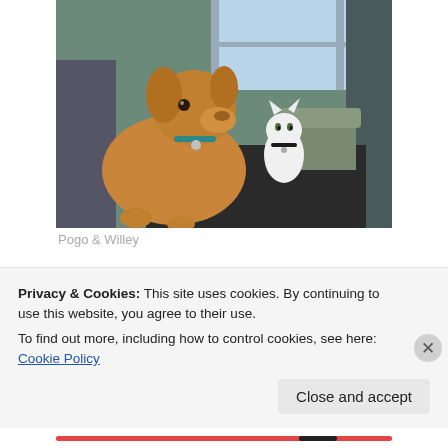[Figure (photo): A brown dog sitting on the floor looking left, and a white cat sitting on a dark ottoman near a window in a living room.]
Pogo & Willey
[Figure (photo): Partial view of a second photo showing a parquet wood floor and a white object, partially obscured by a cookie consent banner.]
Privacy & Cookies: This site uses cookies. By continuing to use this website, you agree to their use.
To find out more, including how to control cookies, see here: Cookie Policy
Close and accept